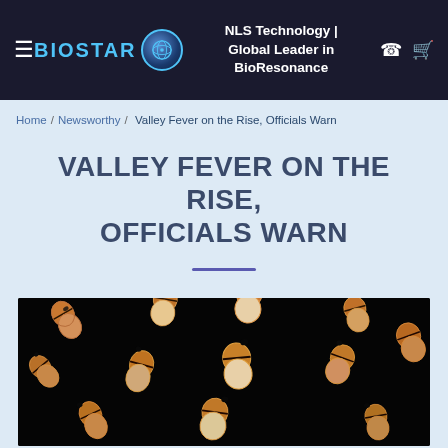NLS Technology | Global Leader in BioResonance
Home / Newsworthy / Valley Fever on the Rise, Officials Warn
VALLEY FEVER ON THE RISE, OFFICIALS WARN
[Figure (photo): Microscopic image of Coccidioides spores (arthrospores) on a black background, showing orange-tan barrel-shaped fungal segments arranged in chains.]